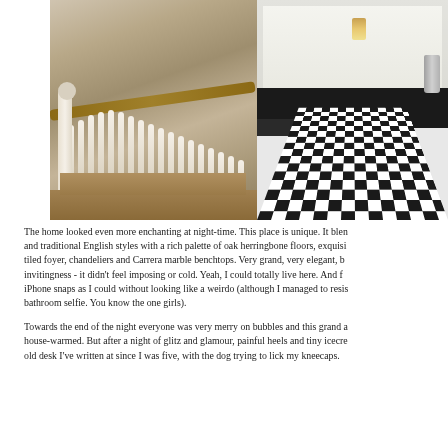[Figure (photo): Interior photo showing two views: left side shows a wooden staircase with white painted spindle banisters and dark wood handrail; right side shows a black and white diamond-pattern tiled foyer floor viewed from above, with dark stairs leading down to it and a wall sconce lamp visible.]
The home looked even more enchanting at night-time. This place is unique. It blends and traditional English styles with a rich palette of oak herringbone floors, exquisite tiled foyer, chandeliers and Carrera marble benchtops. Very grand, very elegant, but invitingness - it didn't feel imposing or cold. Yeah, I could totally live here. And for iPhone snaps as I could without looking like a weirdo (although I managed to resist bathroom selfie. You know the one girls).
Towards the end of the night everyone was very merry on bubbles and this grand a house-warmed. But after a night of glitz and glamour, painful heels and tiny icecre old desk I've written at since I was five, with the dog trying to lick my kneecaps.